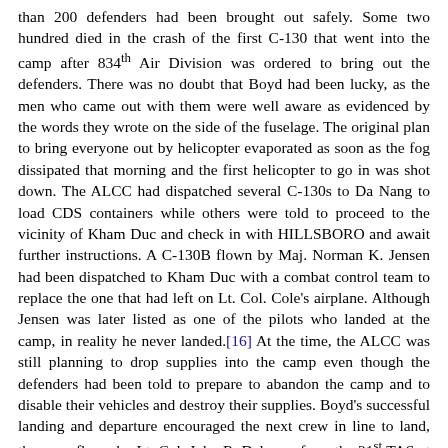than 200 defenders had been brought out safely. Some two hundred died in the crash of the first C-130 that went into the camp after 834th Air Division was ordered to bring out the defenders. There was no doubt that Boyd had been lucky, as the men who came out with them were well aware as evidenced by the words they wrote on the side of the fuselage. The original plan to bring everyone out by helicopter evaporated as soon as the fog dissipated that morning and the first helicopter to go in was shot down. The ALCC had dispatched several C-130s to Da Nang to load CDS containers while others were told to proceed to the vicinity of Kham Duc and check in with HILLSBORO and await further instructions. A C-130B flown by Maj. Norman K. Jensen had been dispatched to Kham Duc with a combat control team to replace the one that had left on Lt. Col. Cole's airplane. Although Jensen was later listed as one of the pilots who landed at the camp, in reality he never landed.[16] At the time, the ALCC was still planning to drop supplies into the camp even though the defenders had been told to prepare to abandon the camp and to disable their vehicles and destroy their supplies. Boyd's successful landing and departure encouraged the next crew in line to land, the crew flown by Lt. Col. John R. Delmore from the 21st TAS at Naha.